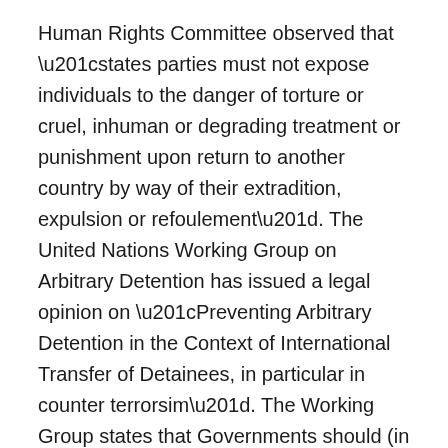Human Rights Committee observed that “states parties must not expose individuals to the danger of torture or cruel, inhuman or degrading treatment or punishment upon return to another country by way of their extradition, expulsion or refoulement”. The United Nations Working Group on Arbitrary Detention has issued a legal opinion on “Preventing Arbitrary Detention in the Context of International Transfer of Detainees, in particular in counter terrorsim”. The Working Group states that Governments should (in addition to the risk of torture) “include the risk of arbitrary detention in the receiving State per se among the elements to be taken into consideration when asked to extradite, deport, expel or otherwise hand a person over to the authorities of another